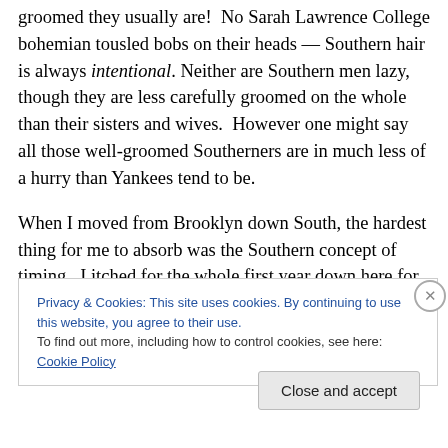groomed they usually are!  No Sarah Lawrence College bohemian tousled bobs on their heads — Southern hair is always intentional. Neither are Southern men lazy, though they are less carefully groomed on the whole than their sisters and wives.  However one might say all those well-groomed Southerners are in much less of a hurry than Yankees tend to be.
When I moved from Brooklyn down South, the hardest thing for me to absorb was the Southern concept of timing.  I itched for the whole first year down here for a New York
Privacy & Cookies: This site uses cookies. By continuing to use this website, you agree to their use.
To find out more, including how to control cookies, see here: Cookie Policy
Close and accept